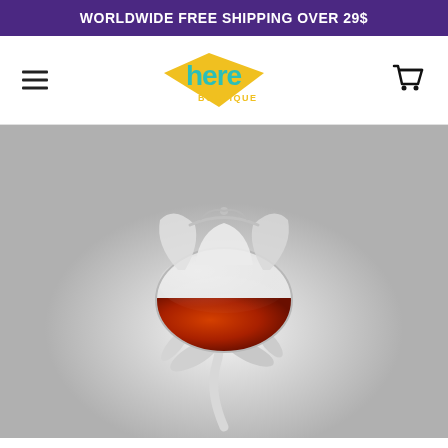WORLDWIDE FREE SHIPPING OVER 29$
[Figure (logo): Here Boutique logo with colorful diamond shape and teal/green 'here' text with 'boutique' below]
[Figure (photo): Rose-shaped wine glass with red wine, designed to look like a flower with glass petals and curved stem]